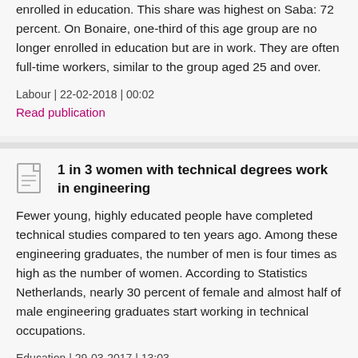enrolled in education. This share was highest on Saba: 72 percent. On Bonaire, one-third of this age group are no longer enrolled in education but are in work. They are often full-time workers, similar to the group aged 25 and over.
Labour | 22-02-2018 | 00:02
Read publication
1 in 3 women with technical degrees work in engineering
Fewer young, highly educated people have completed technical studies compared to ten years ago. Among these engineering graduates, the number of men is four times as high as the number of women. According to Statistics Netherlands, nearly 30 percent of female and almost half of male engineering graduates start working in technical occupations.
Education | 29-03-2017 | 13:03